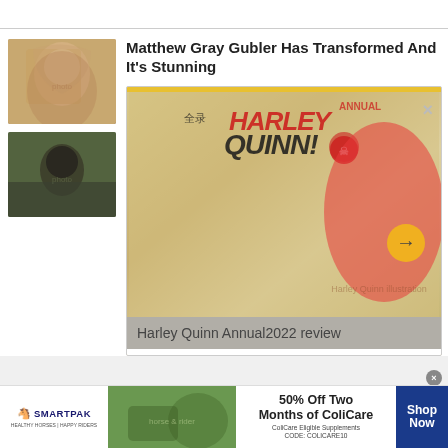[Figure (photo): Thumbnail photo of Matthew Gray Gubler with long hair]
[Figure (photo): Thumbnail photo of a dark-haired woman]
Matthew Gray Gubler Has Transformed And It's Stunning
[Figure (illustration): Harley Quinn Annual 2022 comic book cover advertisement overlay with close button and arrow navigation]
Harley Quinn Annual2022 review
[Figure (infographic): SmartPak banner ad: 50% Off Two Months of ColiCare, ColiCare Eligible Supplements, CODE: COLICARE10, Shop Now button]